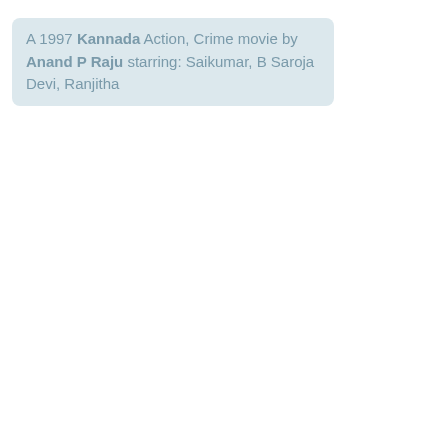A 1997 Kannada Action, Crime movie by Anand P Raju starring: Saikumar, B Saroja Devi, Ranjitha